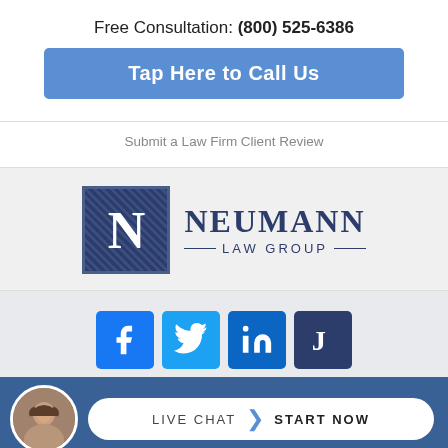Free Consultation: (800) 525-6386
Tap Here to Call Us
Submit a Law Firm Client Review
[Figure (logo): Neumann Law Group logo with dark blue N in a hatched square and text NEUMANN LAW GROUP]
[Figure (infographic): Social media icons: Facebook, Twitter, LinkedIn, Justia in blue square buttons]
LIVE CHAT  START NOW